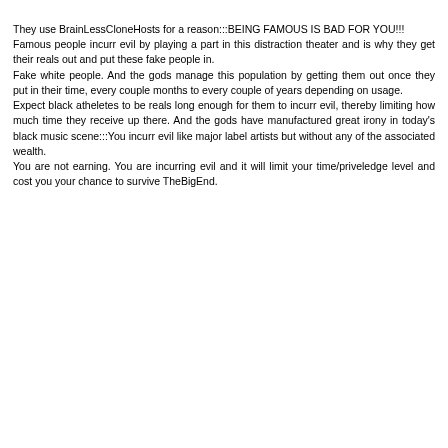They use BrainLessCloneHosts for a reason:::BEING FAMOUS IS BAD FOR YOU!!! Famous people incurr evil by playing a part in this distraction theater and is why they get their reals out and put these fake people in. Fake white people. And the gods manage this population by getting them out once they put in their time, every couple months to every couple of years depending on usage. Expect black atheletes to be reals long enough for them to incurr evil, thereby limiting how much time they receive up there. And the gods have manufactured great irony in today's black music scene:::You incurr evil like major label artists but without any of the associated wealth. You are not earning. You are incurring evil and it will limit your time/priveledge level and cost you your chance to survive TheBigEnd.